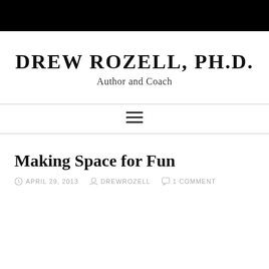[Figure (other): Black header bar across the top of the page]
DREW ROZELL, PH.D.
Author and Coach
[Figure (other): Hamburger menu icon (three horizontal lines)]
Making Space for Fun
APRIL 29, 2013  DREWROZELL  1 COMMENT